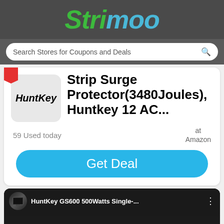Strimoo
Search Stores for Coupons and Deals
Strip Surge Protector(3480Joules), Huntkey 12 AC...
59 Used today
at Amazon
Get Deal
[Figure (screenshot): YouTube video thumbnail showing HuntKey GS600 500Watts Single-... with a product box and YouTube play button]